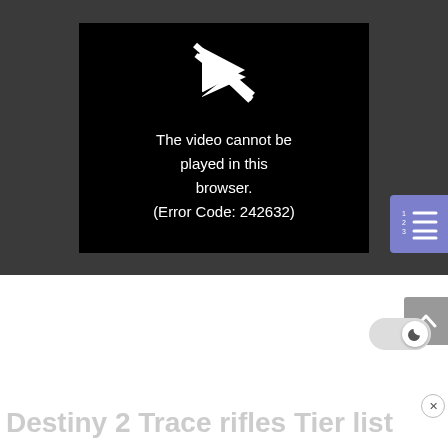[Figure (screenshot): Video player showing error: 'The video cannot be played in this browser. (Error Code: 242632)' with a broken play icon on black background, embedded in a dark grey player container. A numbered list icon button is visible on the right side.]
Lists updated as of Bungie's 30th Anniversary event.
Destiny 2 Trace rifles Tier list